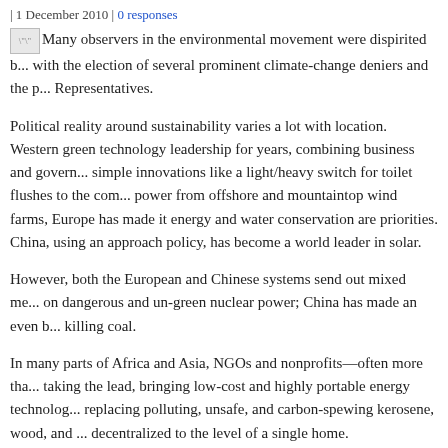| 1 December 2010 | 0 responses
"\"Many observers in the environmental movement were dispirited b... with the election of several prominent climate-change deniers and the p... Representatives.
Political reality around sustainability varies a lot with location. Western green technology leadership for years, combining business and govern... simple innovations like a light/heavy switch for toilet flushes to the com... power from offshore and mountaintop wind farms, Europe has made it energy and water conservation are priorities. China, using an approach policy, has become a world leader in solar.
However, both the European and Chinese systems send out mixed me... on dangerous and un-green nuclear power; China has made an even b... killing coal.
In many parts of Africa and Asia, NGOs and nonprofits—often more tha... taking the lead, bringing low-cost and highly portable energy technolog... replacing polluting, unsafe, and carbon-spewing kerosene, wood, and ... decentralized to the level of a single home.